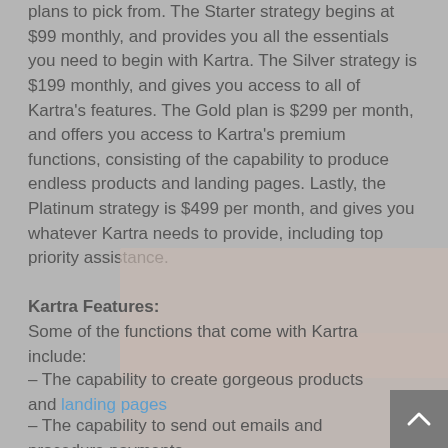plans to pick from. The Starter strategy begins at $99 monthly, and provides you all the essentials you need to begin with Kartra. The Silver strategy is $199 monthly, and gives you access to all of Kartra's features. The Gold plan is $299 per month, and offers you access to Kartra's premium functions, consisting of the capability to produce endless products and landing pages. Lastly, the Platinum strategy is $499 per month, and gives you whatever Kartra needs to provide, including top priority assistance.
Kartra Features:
Some of the functions that come with Kartra include:
– The capability to create gorgeous products and landing pages
– The capability to send out emails and procedure payments